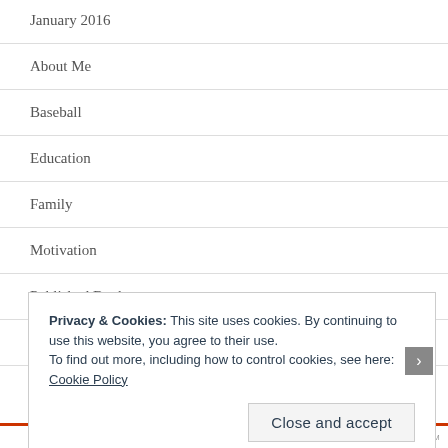January 2016
About Me
Baseball
Education
Family
Motivation
Published Books
Running/Marathons
Privacy & Cookies: This site uses cookies. By continuing to use this website, you agree to their use.
To find out more, including how to control cookies, see here:
Cookie Policy
Close and accept